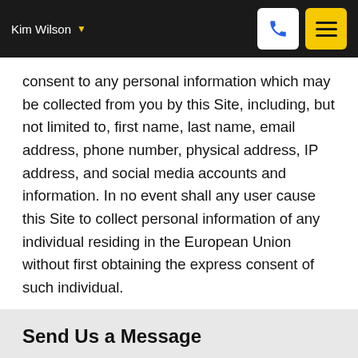Kim Wilson
consent to any personal information which may be collected from you by this Site, including, but not limited to, first name, last name, email address, phone number, physical address, IP address, and social media accounts and information. In no event shall any user cause this Site to collect personal information of any individual residing in the European Union without first obtaining the express consent of such individual.
Send Us a Message
Enter Your Email
Enter Your Cell Phone